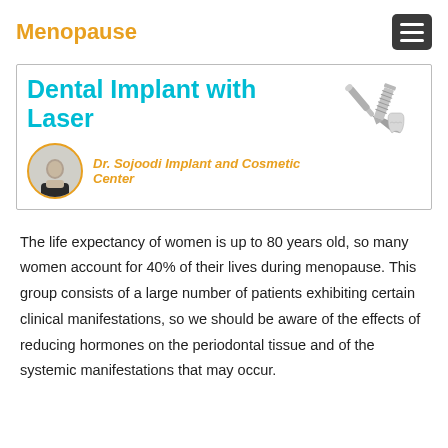Menopause
[Figure (illustration): Banner for Dr. Sojoodi Implant and Cosmetic Center featuring 'Dental Implant with Laser' title in cyan, doctor avatar, orange subtitle text, and dental implant images on the right.]
The life expectancy of women is up to 80 years old, so many women account for 40% of their lives during menopause. This group consists of a large number of patients exhibiting certain clinical manifestations, so we should be aware of the effects of reducing hormones on the periodontal tissue and of the systemic manifestations that may occur.